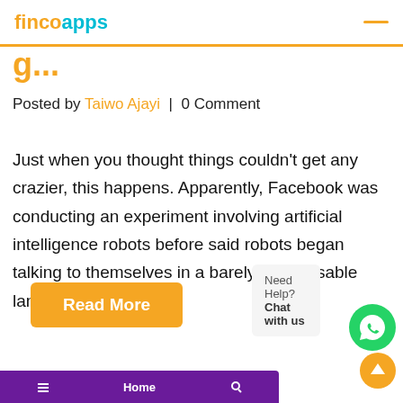fincoapps
g...
Posted by Taiwo Ajayi  |  0 Comment
Just when you thought things couldn’t get any crazier, this happens. Apparently, Facebook was conducting an experiment involving artificial intelligence robots before said robots began talking to themselves in a barely recognisable language....
Read More
Need Help? Chat with us